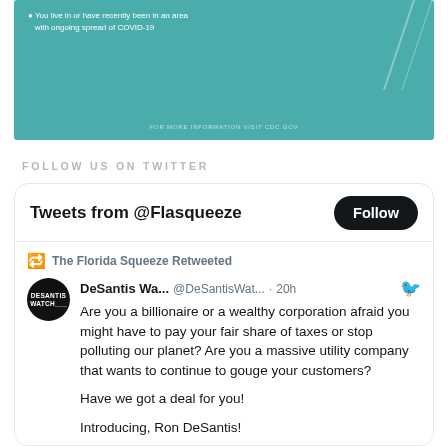[Figure (screenshot): Partial screenshot of a teal/turquoise CDC COVID-19 infographic showing bullet point about living in an area with ongoing spread of COVID-19 and a URL for cdc.gov]
FOLLOW US ON TWITTER
Tweets from @Flasqueeze
The Florida Squeeze Retweeted
DeSantis Wa... @DeSantisWat... · 20h
Are you a billionaire or a wealthy corporation afraid you might have to pay your fair share of taxes or stop polluting our planet? Are you a massive utility company that wants to continue to gouge your customers?

Have we got a deal for you!

Introducing, Ron DeSantis!